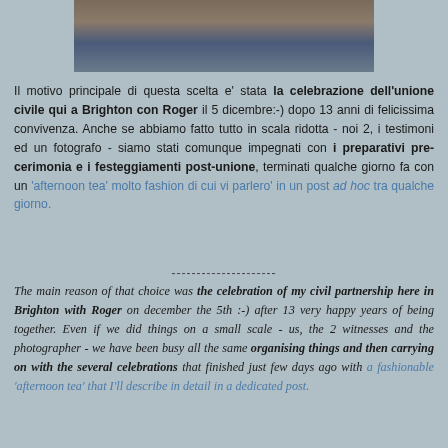[Figure (photo): Partial photo of a group of people standing together, only their lower bodies/legs visible, taken indoors on a wooden floor]
Il motivo principale di questa scelta e' stata la celebrazione dell'unione civile qui a Brighton con Roger il 5 dicembre:-) dopo 13 anni di felicissima convivenza. Anche se abbiamo fatto tutto in scala ridotta - noi 2, i testimoni ed un fotografo - siamo stati comunque impegnati con i preparativi pre-cerimonia e i festeggiamenti post-unione, terminati qualche giorno fa con un 'afternoon tea' molto fashion di cui vi parlero' in un post ad hoc tra qualche giorno.
---------------------
The main reason of that choice was the celebration of my civil partnership here in Brighton with Roger on december the 5th :-) after 13 very happy years of being together. Even if we did things on a small scale - us, the 2 witnesses and the photographer - we have been busy all the same organising things and then carrying on with the several celebrations that finished just few days ago with a fashionable 'afternoon tea' that I'll describe in detail in a dedicated post.